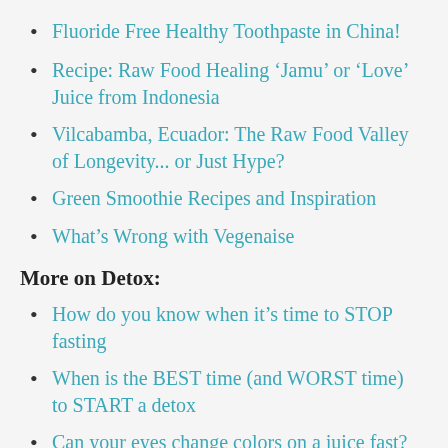Fluoride Free Healthy Toothpaste in China!
Recipe: Raw Food Healing ‘Jamu’ or ‘Love’ Juice from Indonesia
Vilcabamba, Ecuador: The Raw Food Valley of Longevity... or Just Hype?
Green Smoothie Recipes and Inspiration
What’s Wrong with Vegenaise
More on Detox:
How do you know when it’s time to STOP fasting
When is the BEST time (and WORST time) to START a detox
Can your eyes change colors on a juice fast?